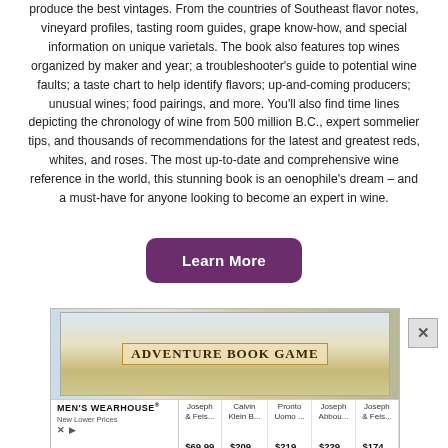produce the best vintages. From the countries of Southeast flavor notes, vineyard profiles, tasting room guides, grape know-how, and special information on unique varietals. The book also features top wines organized by maker and year; a troubleshooter's guide to potential wine faults; a taste chart to help identify flavors; up-and-coming producers; unusual wines; food pairings, and more. You'll also find time lines depicting the chronology of wine from 500 million B.C., expert sommelier tips, and thousands of recommendations for the latest and greatest reds, whites, and roses. The most up-to-date and comprehensive wine reference in the world, this stunning book is an oenophile's dream – and a must-have for anyone looking to become an expert in wine.
[Figure (other): A purple rounded-rectangle button labeled 'Learn More']
[Figure (other): Advertisement: Adventure Book Game box image at top, Men's Wearhouse ad table below showing prices for Joseph & Feis..., Calvin Klein B..., Pronto Uomo..., Joseph Abbou..., Joseph & Feis... with prices $69.99, $209..., $219..., $229..., $174...]